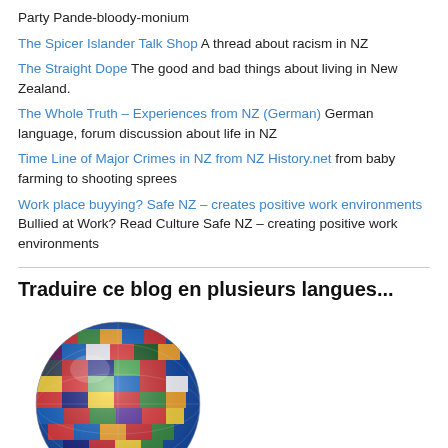Party Pande-bloody-monium
The Spicer Islander Talk Shop A thread about racism in NZ
The Straight Dope The good and bad things about living in New Zealand.
The Whole Truth – Experiences from NZ (German) German language, forum discussion about life in NZ
Time Line of Major Crimes in NZ from NZ History.net from baby farming to shooting sprees
Work place buyying? Safe NZ – creates positive work environments Bullied at Work? Read Culture Safe NZ – creating positive work environments
Traduire ce blog en plusieurs langues...
[Figure (illustration): A globe made of international flags]